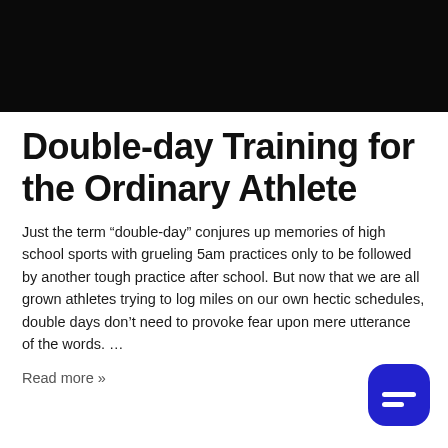[Figure (photo): Dark/black hero image at the top of the page, appears to be a sports or training scene in near-darkness]
Double-day Training for the Ordinary Athlete
Just the term “double-day” conjures up memories of high school sports with grueling 5am practices only to be followed by another tough practice after school. But now that we are all grown athletes trying to log miles on our own hectic schedules, double days don’t need to provoke fear upon mere utterance of the words. …
Read more »